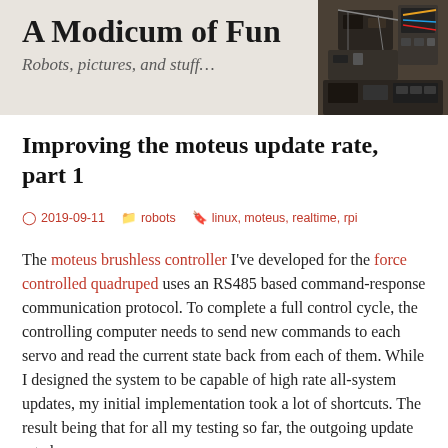A Modicum of Fun
Robots, pictures, and stuff…
Improving the moteus update rate, part 1
2019-09-11   robots   linux, moteus, realtime, rpi
The moteus brushless controller I've developed for the force controlled quadruped uses an RS485 based command-response communication protocol.  To complete a full control cycle, the controlling computer needs to send new commands to each servo and read the current state back from each of them.  While I designed the system to be capable of high rate all-system updates, my initial implementation took a lot of shortcuts.  The result being that for all my testing so far, the outgoing update rate has